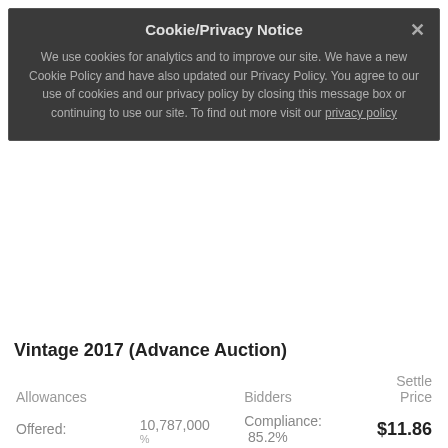Cookie/Privacy Notice
✕
We use cookies for analytics and to improve our site. We have a new Cookie Policy and have also updated our Privacy Policy. You agree to our use of cookies and our privacy policy by closing this message box or continuing to use our site. To find out more visit our privacy policy
Vintage 2017 (Advance Auction)
| Allowances |  | Bidders | Settle Price |
| --- | --- | --- | --- |
| Offered: | 10,787,000 | % Compliance: 85.2% | $11.86 |
| Sold: | 10,787,000 |  |  |
| Bids/Available for Sale Ratio: | 1.92 |  |  |